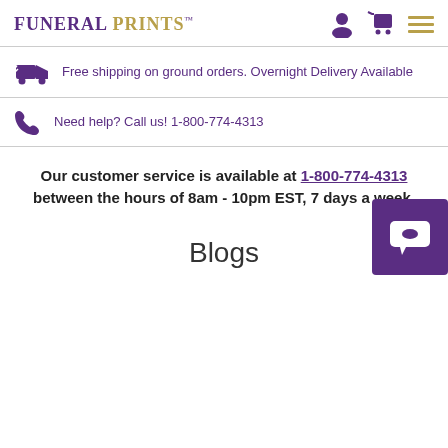FUNERAL PRINTS™
Free shipping on ground orders. Overnight Delivery Available
Need help? Call us! 1-800-774-4313
Our customer service is available at 1-800-774-4313 between the hours of 8am - 10pm EST, 7 days a week.
Blogs